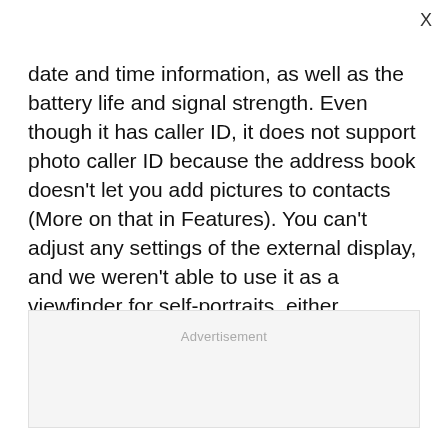date and time information, as well as the battery life and signal strength. Even though it has caller ID, it does not support photo caller ID because the address book doesn't let you add pictures to contacts (More on that in Features). You can't adjust any settings of the external display, and we weren't able to use it as a viewfinder for self-portraits, either.
Advertisement